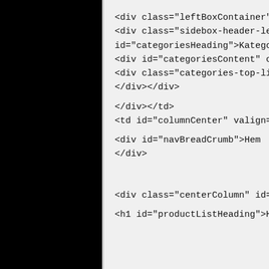[Figure (other): Black panel on the left side of the page, approximately 170px wide]
<div class="leftBoxContainer" id="categorie...
<div class="sidebox-header-left main-sidebo...
id="categoriesHeading">Kategorier</h3></d...
<div id="categoriesContent" class="sideBox...
<div class="categories-top-list no-dots"><a ...
</div></div>

</div></td>
<td id="columnCenter" valign="top">

<div id="navBreadCrumb">Hem
</div>





<div class="centerColumn" id="indexProdu...

<h1 id="productListHeading">Hem</h1>